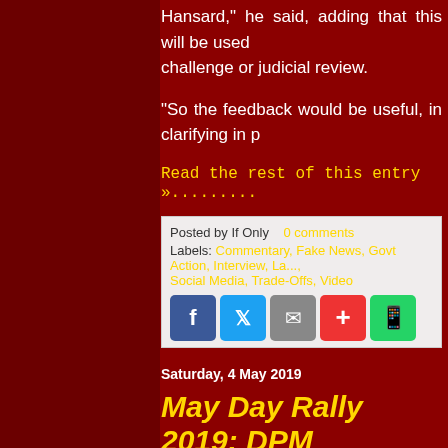Hansard," he said, adding that this will be used challenge or judicial review.
"So the feedback would be useful, in clarifying in p
Read the rest of this entry »..........
Posted by If Only     0 comments
Labels: Commentary, Fake News, Govt Action, Interview, La...
Social Media, Trade-Offs, Video
Saturday, 4 May 2019
May Day Rally 2019: DPM pledges 4G leaders' comm...
Heng renews pledge first made by Lee...